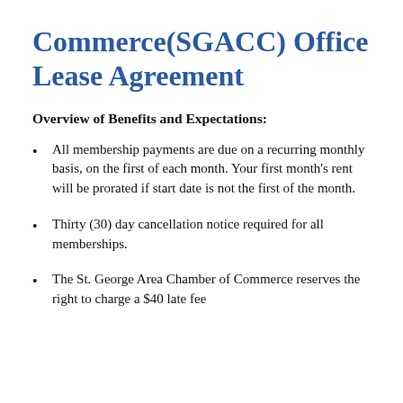Commerce(SGACC) Office Lease Agreement
Overview of Benefits and Expectations:
All membership payments are due on a recurring monthly basis, on the first of each month. Your first month’s rent will be prorated if start date is not the first of the month.
Thirty (30) day cancellation notice required for all memberships.
The St. George Area Chamber of Commerce reserves the right to charge a $40 late fee